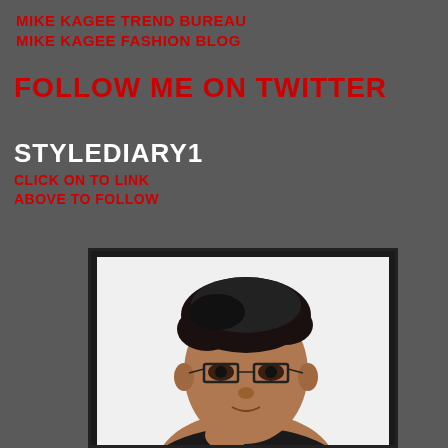MIKE KAGEE TREND BUREAU
MIKE KAGEE FASHION BLOG
FOLLOW ME ON TWITTER
STYLEDIARY1
CLICK ON TO LINK ABOVE TO FOLLOW
[Figure (photo): Portrait photo of a man with dark curly hair and rectangular dark-framed glasses, wearing a dark top, shown from chest up against a white background, displayed in a dark-bordered frame]